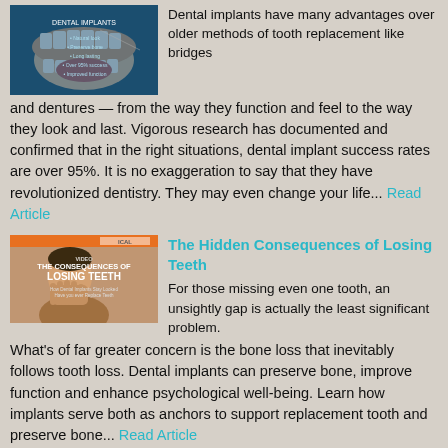[Figure (photo): Dental illustration showing an open mouth with teeth and dental implant graphic on a dark blue background]
Dental implants have many advantages over older methods of tooth replacement like bridges and dentures — from the way they function and feel to the way they look and last. Vigorous research has documented and confirmed that in the right situations, dental implant success rates are over 95%. It is no exaggeration to say that they have revolutionized dentistry. They may even change your life... Read Article
[Figure (photo): Book cover or article image showing a distressed man holding his head, with text 'THE CONSEQUENCES OF LOSING TEETH' on a sepia-toned background]
The Hidden Consequences of Losing Teeth
For those missing even one tooth, an unsightly gap is actually the least significant problem. What's of far greater concern is the bone loss that inevitably follows tooth loss. Dental implants can preserve bone, improve function and enhance psychological well-being. Learn how implants serve both as anchors to support replacement tooth and preserve bone... Read Article